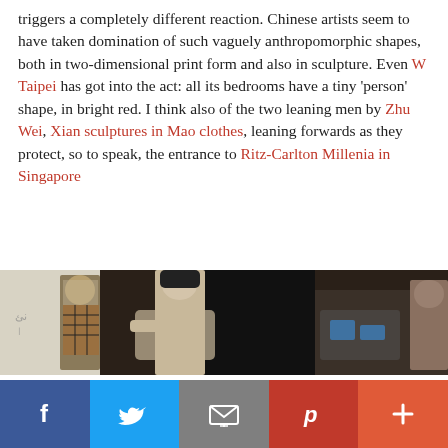triggers a completely different reaction. Chinese artists seem to have taken domination of such vaguely anthropomorphic shapes, both in two-dimensional print form and also in sculpture. Even W Taipei has got into the act: all its bedrooms have a tiny 'person' shape, in bright red. I think also of the two leaning men by Zhu Wei, Xian sculptures in Mao clothes, leaning forwards as they protect, so to speak, the entrance to Ritz-Carlton Millenia in Singapore
[Figure (photo): Photo of Chinese sculptures/figures in Mao-style clothing leaning forward, displayed in what appears to be a hotel lobby or exhibition space with dark background panels.]
Social share bar: Facebook, Twitter, Email, Pinterest, More